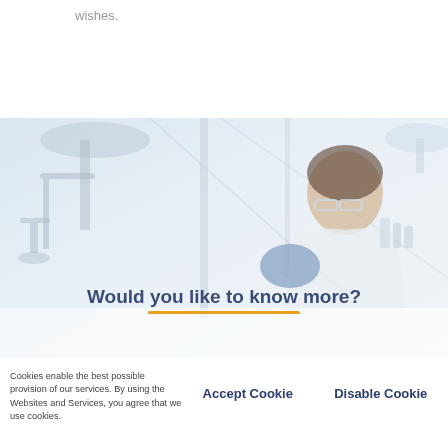wishes.
[Figure (photo): Scientist in white lab coat and safety glasses examining a sample in a laboratory setting, with lab equipment visible in the background. Overlaid text reads 'Would you like to know more?' with an orange underline decoration.]
Cookies enable the best possible provision of our services. By using the Websites and Services, you agree that we use cookies.
Accept Cookie
Disable Cookie